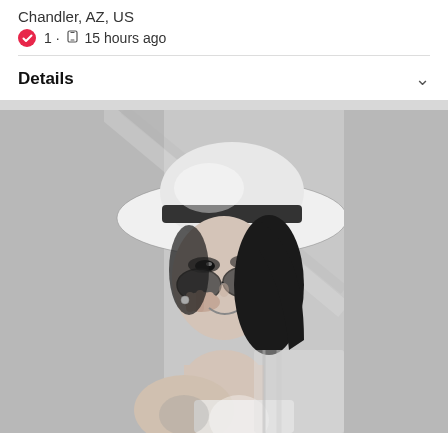Chandler, AZ, US
1 · 15 hours ago
Details
[Figure (photo): Black and white photo of a woman wearing a wide-brim white hat with a dark band and holding sunglasses, smiling, with dark hair]